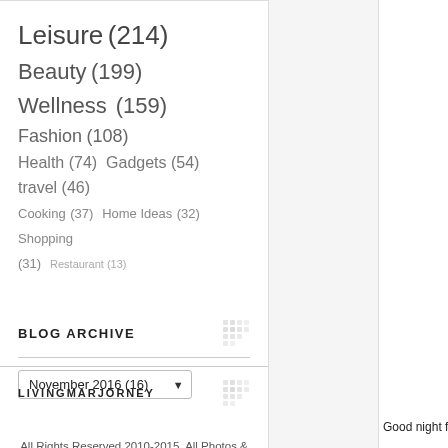Leisure (214) Beauty (199) Wellness (159) Fashion (108) Health (74) Gadgets (54) travel (46) Cooking (37) Home Ideas (32) Shopping (31) Restaurant (13)
BLOG ARCHIVE
November 2016 (16)
All Rights Reserved 2010-2015. All Photos & Articles by Marjorie Uy for www.livingmarjorney.com. Powered by Blogger.
LIVINGMARJORNEY
Good night fro